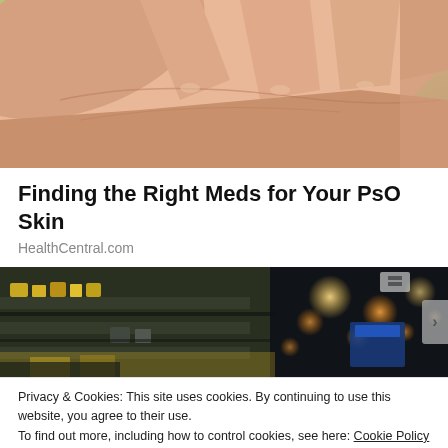[Figure (photo): Close-up photo of a hand with fingers spread open against a green blurred background, showing skin detail relevant to a psoriasis/skin condition article.]
Finding the Right Meds for Your PsO Skin
HealthCentral.com
[Figure (photo): Blurred photo of a pharmacy or drugstore aisle with bright bokeh lights and shelves of products visible.]
Privacy & Cookies: This site uses cookies. By continuing to use this website, you agree to their use.
To find out more, including how to control cookies, see here: Cookie Policy
Close and accept